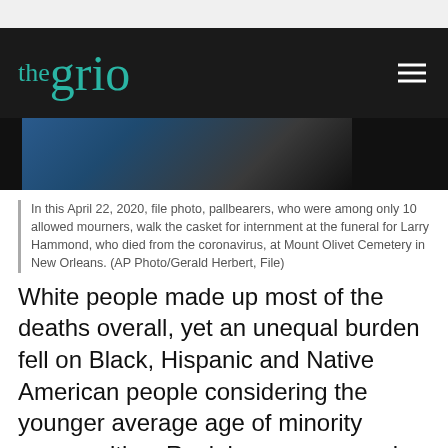[Figure (photo): TheGrio website navigation bar with teal logo on black background and hamburger menu icon on the right]
[Figure (photo): Partial photo strip showing a funeral scene - pallbearers at a COVID-19 funeral, dark and blue tones]
In this April 22, 2020, file photo, pallbearers, who were among only 10 allowed mourners, walk the casket for internment at the funeral for Larry Hammond, who died from the coronavirus, at Mount Olivet Cemetery in New Orleans. (AP Photo/Gerald Herbert, File)
White people made up most of the deaths overall, yet an unequal burden fell on Black, Hispanic and Native American people considering the younger average age of minority communities. Racial gaps narrowed between surges then widened again with each new wave.